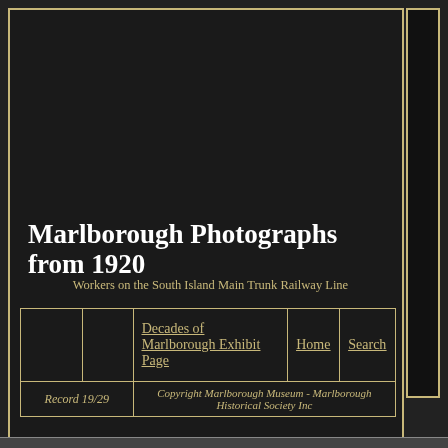Marlborough Photographs from 1920
Workers on the South Island Main Trunk Railway Line
|  |  | Decades of Marlborough Exhibit Page | Home | Search |
| --- | --- | --- | --- | --- |
|  |  | Decades of Marlborough Exhibit Page | Home | Search |
| Record 19/29 |  | Copyright Marlborough Museum - Marlborough Historical Society Inc |  |  |